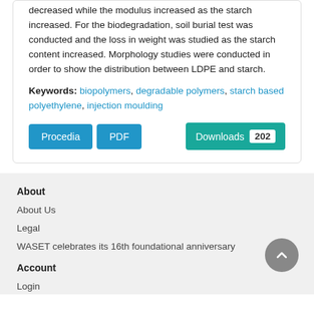decreased while the modulus increased as the starch increased. For the biodegradation, soil burial test was conducted and the loss in weight was studied as the starch content increased. Morphology studies were conducted in order to show the distribution between LDPE and starch.
Keywords: biopolymers, degradable polymers, starch based polyethylene, injection moulding
Procedia  PDF  Downloads 202
About
About Us
Legal
WASET celebrates its 16th foundational anniversary
Account
Login